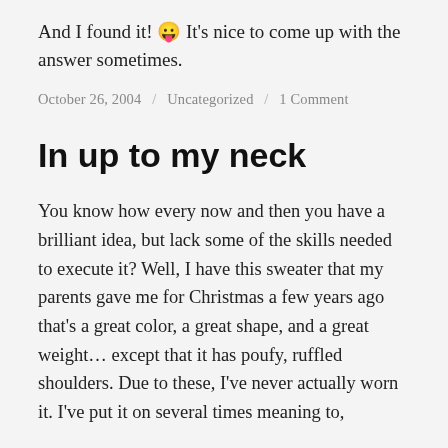And I found it! 😛 It's nice to come up with the answer sometimes.
October 26, 2004 / Uncategorized / 1 Comment
In up to my neck
You know how every now and then you have a brilliant idea, but lack some of the skills needed to execute it? Well, I have this sweater that my parents gave me for Christmas a few years ago that's a great color, a great shape, and a great weight… except that it has poufy, ruffled shoulders. Due to these, I've never actually worn it. I've put it on several times meaning to,